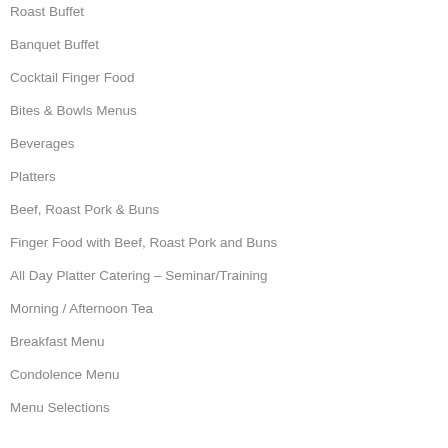Roast Buffet
Banquet Buffet
Cocktail Finger Food
Bites & Bowls Menus
Beverages
Platters
Beef, Roast Pork & Buns
Finger Food with Beef, Roast Pork and Buns
All Day Platter Catering – Seminar/Training
Morning / Afternoon Tea
Breakfast Menu
Condolence Menu
Menu Selections